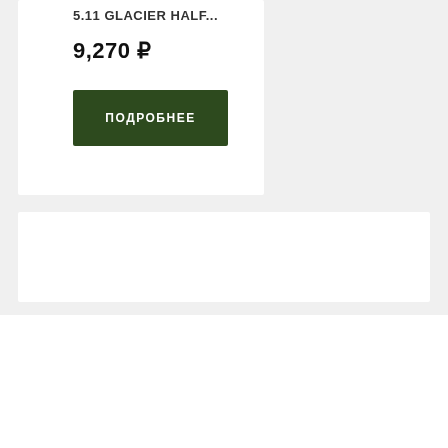5.11 GLACIER HALF...
9,270 ₽
ПОДРОБНЕЕ
ПОИСК
Мы используем файлы cookie для улучшения производительности сайта и лучшего представления контента. Для полноценной работы с сайтом нажмите кнопку "Принять".
Чем я могу вам помочь?